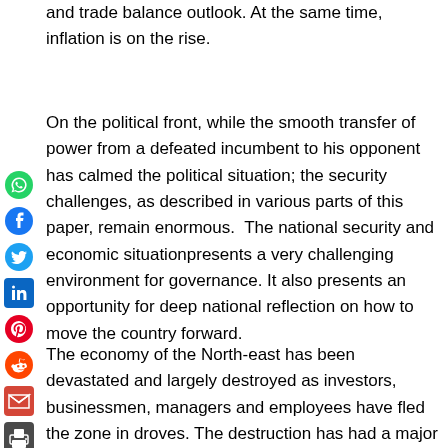and trade balance outlook. At the same time, inflation is on the rise.
On the political front, while the smooth transfer of power from a defeated incumbent to his opponent has calmed the political situation; the security challenges, as described in various parts of this paper, remain enormous. The national security and economic situationpresents a very challenging environment for governance. It also presents an opportunity for deep national reflection on how to move the country forward.
The economy of the North-east has been devastated and largely destroyed as investors, businessmen, managers and employees have fled the zone in droves. The destruction has had a major impact on the economy of the region as it has led to severe food shortages,unemployment in a region that has traditionally produced cash and food crops across the